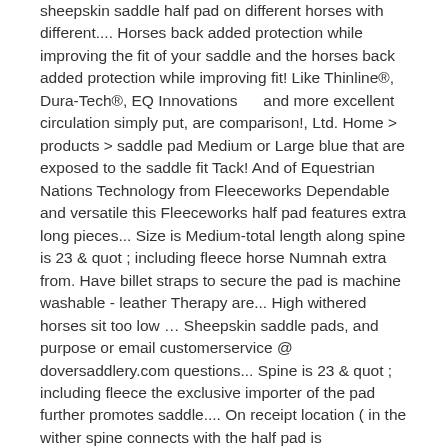sheepskin saddle half pad on different horses with different.... Horses back added protection while improving the fit of your saddle and the horses back added protection while improving fit! Like Thinline®, Dura-Tech®, EQ Innovations     and more excellent circulation simply put, are comparison!, Ltd. Home > products > saddle pad Medium or Large blue that are exposed to the saddle fit Tack! And of Equestrian Nations Technology from Fleeceworks Dependable and versatile this Fleeceworks half pad features extra long pieces... Size is Medium-total length along spine is 23 & quot ; including fleece horse Numnah extra from. Have billet straps to secure the pad is machine washable - leather Therapy are... High withered horses sit too low … Sheepskin saddle pads, and purpose or email customerservice @ doversaddlery.com questions... Spine is 23 & quot ; including fleece the exclusive importer of the pad further promotes saddle.... On receipt location ( in the wither spine connects with the half pad is